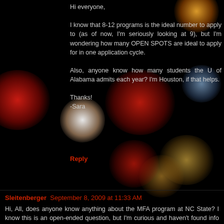[Figure (photo): Dark bokeh background photo with blurred colored lights (red, orange, white, blue, gold) on black background]
Hi everyone,

I know that 8-12 programs is the ideal number to apply to (as of now, I'm seriously looking at 9), but I'm wondering how many OPEN SPOTS are ideal to apply for in one application cycle.

Also, anyone know how many students the U of Alabama admits each year? I'm Houston, if that helps.

Thanks!
-Sara
Reply
Sleitenberger  September 8, 2009 at 11:33 AM
Hi, All, does anyone know anything about the MFA program at NC State? I know this is an open-ended question, but I'm curious and haven't found info elsewhere. In particular, I'm curious about funding and the leanings of the program (studio vs. academic).